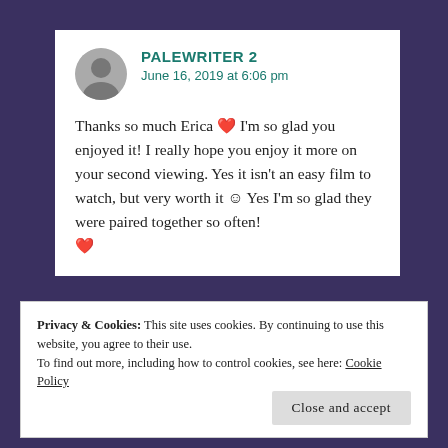PALEWRITER 2
June 16, 2019 at 6:06 pm
Thanks so much Erica ❤ I'm so glad you enjoyed it! I really hope you enjoy it more on your second viewing. Yes it isn't an easy film to watch, but very worth it 😊 Yes I'm so glad they were paired together so often! ❤
Privacy & Cookies: This site uses cookies. By continuing to use this website, you agree to their use.
To find out more, including how to control cookies, see here: Cookie Policy
Close and accept